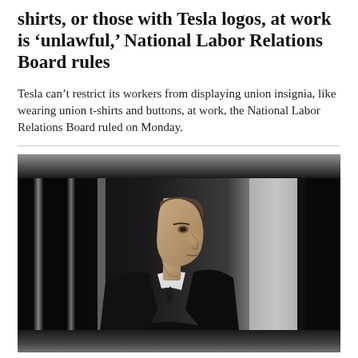shirts, or those with Tesla logos, at work is 'unlawful,' National Labor Relations Board rules
Tesla can't restrict its workers from displaying union insignia, like wearing union t-shirts and buttons, at work, the National Labor Relations Board ruled on Monday.
[Figure (photo): Photo of Elon Musk in profile view, wearing a dark suit and tie, photographed against a background of vertical black and white bars/stripes with dramatic lighting. A blurred gray bar appears at the top and bottom of the image.]